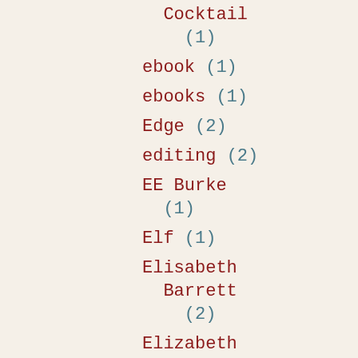Cocktail (1)
ebook (1)
ebooks (1)
Edge (2)
editing (2)
EE Burke (1)
Elf (1)
Elisabeth Barrett (2)
Elizabeth Hoyt (2)
Elizabeth Lowell (1)
Elizabeth